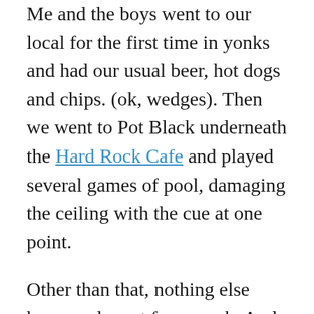Me and the boys went to our local for the first time in yonks and had our usual beer, hot dogs and chips. (ok, wedges). Then we went to Pot Black underneath the Hard Rock Cafe and played several games of pool, damaging the ceiling with the cue at one point.

Other than that, nothing else happened apart from work. And I don't like to talk about work. Talk about work and people ask where you work, and you don't really wanna tell, 'cos you don't want your work to be related to your funky little neuroses you put up on your blog. Talking about work also bores some people to tears, no matter how sordid the affair you're having with your boss may be. It is a workplace affair and only shows how little you really get